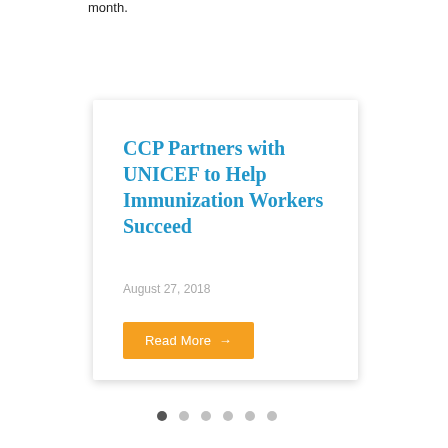month.
CCP Partners with UNICEF to Help Immunization Workers Succeed
August 27, 2018
Read More →
[Figure (other): Pagination dots indicator with 6 dots, first dot active/filled dark, rest grey]